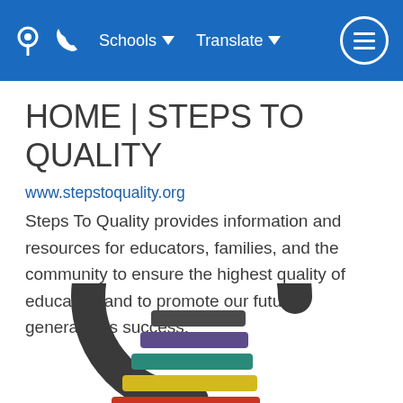Schools  Translate
HOME | STEPS TO QUALITY
www.stepstoquality.org
Steps To Quality provides information and resources for educators, families, and the community to ensure the highest quality of education and to promote our future generation's success.
[Figure (logo): Steps To Quality logo: dark circular arc with colorful stacked horizontal bars (dark gray, purple, teal, yellow, red) forming steps inside the arc.]